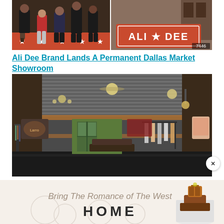[Figure (photo): Two side-by-side photos: left shows a group of people posing in cowboy boots on a red star-patterned floor; right shows a red rug with 'ALI DEE' text in white letters with a star]
Ali Dee Brand Lands A Permanent Dallas Market Showroom
[Figure (photo): Interior of the Ali Dee showroom: a rustic barn-style space with corrugated metal ceiling, wooden beams, chandeliers, and clothing racks displaying Western-style apparel]
[Figure (photo): Advertisement banner: cursive text reading 'Bring The Romance of The West' with 'HOME' in large serif text and a decorative cake/display on the right side]